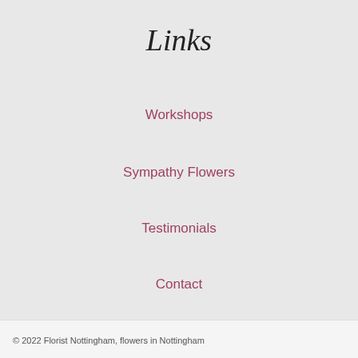Links
Workshops
Sympathy Flowers
Testimonials
Contact
Privacy Policy
© 2022 Florist Nottingham, flowers in Nottingham